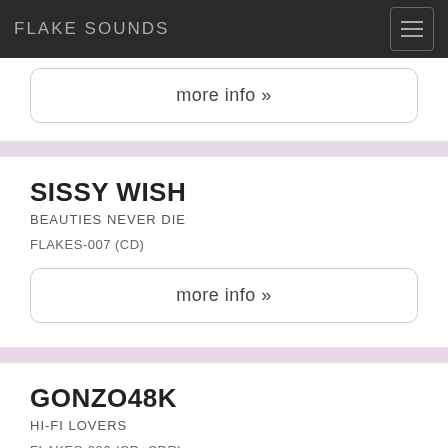FLAKE SOUNDS
more info »
SISSY WISH
BEAUTIES NEVER DIE
FLAKES-007 (CD)
more info »
GONZO48K
HI-FI LOVERS
FLAKES-006 (CD+CDR)
more info »